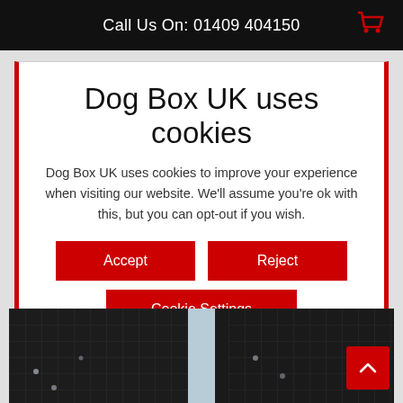Call Us On: 01409 404150
Dog Box UK uses cookies
Dog Box UK uses cookies to improve your experience when visiting our website. We'll assume you're ok with this, but you can opt-out if you wish.
Accept | Reject | Cookie Settings
Read More
[Figure (photo): Dark metal dog crate/cage panels viewed from outside, black grid bars visible on both sides with a lighter center strip]